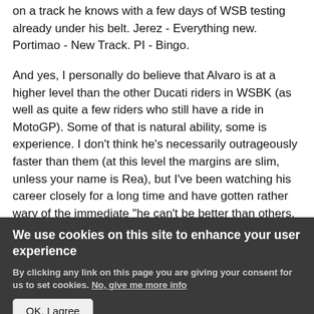on a track he knows with a few days of WSB testing already under his belt. Jerez - Everything new. Portimao - New Track. PI - Bingo.
And yes, I personally do believe that Alvaro is at a higher level than the other Ducati riders in WSBK (as well as quite a few riders who still have a ride in MotoGP). Some of that is natural ability, some is experience. I don't think he's necessarily outrageously faster than them (at this level the margins are slim, unless your name is Rea), but I've been watching his career closely for a long time and have gotten rather wary of the immediate "he can't be better than others, it must be the bike surely"
We use cookies on this site to enhance your user experience
By clicking any link on this page you are giving your consent for us to set cookies. No, give me more info
OK, I agree